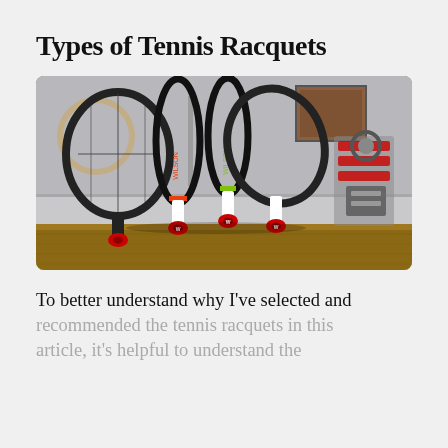Types of Tennis Racquets
[Figure (photo): Four Wilson tennis racquets standing upright leaning together on a wooden table, with a stringing machine in the background against a light gray wall. The racquets include black, red/orange, and green/black models. Red circular Wilson logos visible on handle caps.]
To better understand why I've selected and recommended the tennis racquets in this article, it's helpful to understand the